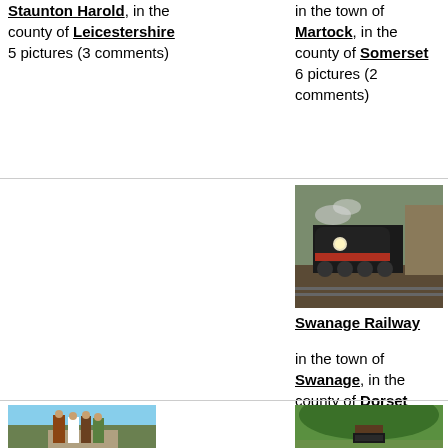Staunton Harold, in the county of Leicestershire
5 pictures (3 comments)
in the town of Martock, in the county of Somerset
6 pictures (2 comments)
[Figure (photo): A steam locomotive (Swanage Railway) on the tracks]
Swanage Railway
in the town of Swanage, in the county of Dorset
1 picture (3 comments)
[Figure (photo): People in historical costumes walking on a path in a field]
[Figure (photo): A large oak tree with a commemorative plaque/sign beneath it in a park]